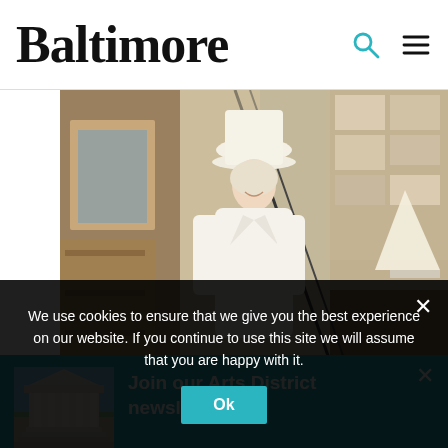Baltimore
[Figure (photo): Woman in white coat and wide-brim white hat standing in an eclectic interior room with bookshelves, artwork, and a staircase]
Join our Arts District newsletter list
[Figure (photo): Thumbnail image of a classical building with columns and steps under a blue sky]
Our editors are delivering the latest in local art, music,
We use cookies to ensure that we give you the best experience on our website. If you continue to use this site we will assume that you are happy with it.